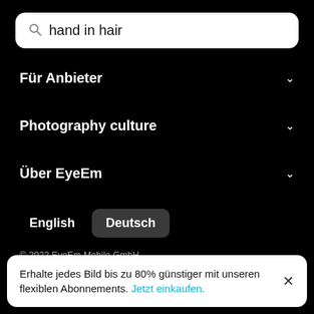hand in hair
Für Anbieter
Photography culture
Über EyeEm
English   Deutsch
© 2022 EyeEm Mobile GmbH.
Datenschutz   AGB   Impressum
[Figure (infographic): Social media icons: Facebook, Instagram, Twitter, Vimeo, YouTube]
Erhalte jedes Bild bis zu 80% günstiger mit unseren flexiblen Abonnements. Jetzt einkaufen.